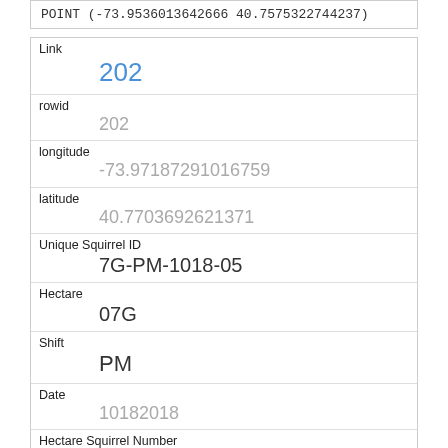POINT (-73.9536013642666 40.7575322744237)
| Field | Value |
| --- | --- |
| Link | 202 |
| rowid | 202 |
| longitude | -73.97187291016759 |
| latitude | 40.7703692621371 |
| Unique Squirrel ID | 7G-PM-1018-05 |
| Hectare | 07G |
| Shift | PM |
| Date | 10182018 |
| Hectare Squirrel Number | 5 |
| Age |  |